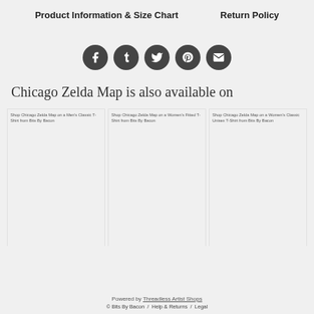Product Information & Size Chart    Return Policy
[Figure (other): Row of five circular social media share icons: Facebook, Tumblr, Twitter, Pinterest, Email]
Chicago Zelda Map is also available on
Shop Chicago Zelda Map on a Men's Classic T-Shirt from Bits By Bacon
Shop Chicago Zelda Map on a Women's Fitted T-Shirt from Bits By Bacon
Shop Chicago Zelda Map on a Women's Classic Unisex T-Shirt from Bits By Bacon
Powered by Threadless Artist Shops
© Bits By Bacon  /  Help & Returns  /  Legal